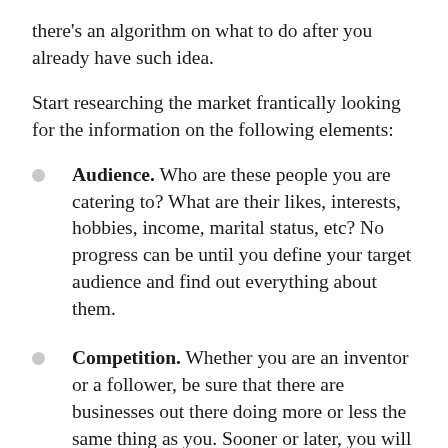there's an algorithm on what to do after you already have such idea.
Start researching the market frantically looking for the information on the following elements:
Audience. Who are these people you are catering to? What are their likes, interests, hobbies, income, marital status, etc? No progress can be until you define your target audience and find out everything about them.
Competition. Whether you are an inventor or a follower, be sure that there are businesses out there doing more or less the same thing as you. Sooner or later, you will have to face them. Or, better yet, study them now to see what